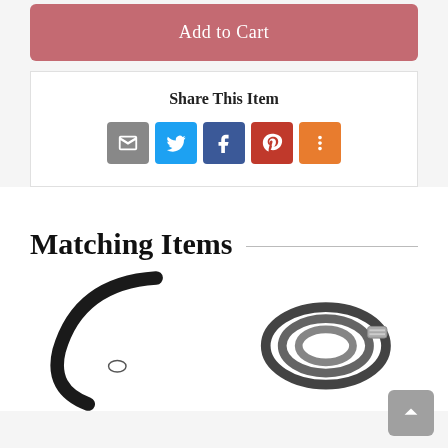Add to Cart
Share This Item
[Figure (infographic): Social share icons: email (grey), Twitter (blue), Facebook (dark blue), Pinterest (red), More (orange)]
Matching Items
[Figure (photo): Black curved hose or cable product image]
[Figure (photo): Coiled black braided hose or rope product image]